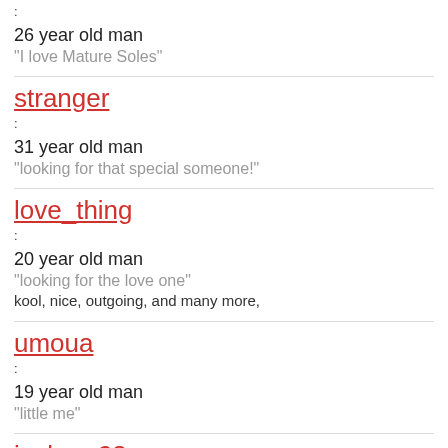:
26 year old man
"I love Mature Soles"
stranger
:
31 year old man
"looking for that special someone!"
love_thing
:
20 year old man
"looking for the love one"
kool, nice, outgoing, and many more,
umoua
:
19 year old man
"little me"
jaybme28